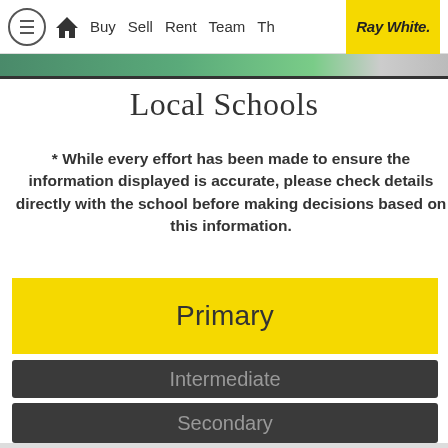≡ 🏠 Buy  Sell  Rent  Team  Th…  Ray White.
Local Schools
* While every effort has been made to ensure the information displayed is accurate, please check details directly with the school before making decisions based on this information.
Primary
Intermediate
Secondary